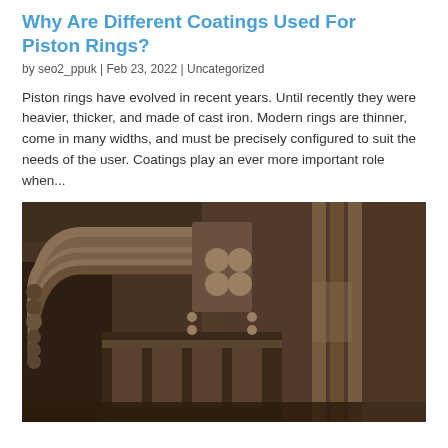Why Are Different Coatings Used For Piston Rings?
by seo2_ppuk | Feb 23, 2022 | Uncategorized
Piston rings have evolved in recent years. Until recently they were heavier, thicker, and made of cast iron. Modern rings are thinner, come in many widths, and must be precisely configured to suit the needs of the user. Coatings play an ever more important role when...
[Figure (photo): Close-up photograph of an old industrial engine showing complex metal pipes, tubes, valves and mechanical components in sepia/brown tones]